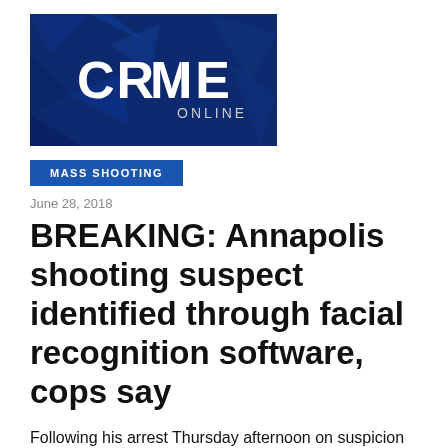[Figure (logo): Crime Online logo — white bold text 'CRIME' with 'ONLINE' below it on a dark blue geometric/polygonal background]
MASS SHOOTING
June 28, 2018
BREAKING: Annapolis shooting suspect identified through facial recognition software, cops say
Following his arrest Thursday afternoon on suspicion of carrying out a mass shooting that left five dead and several